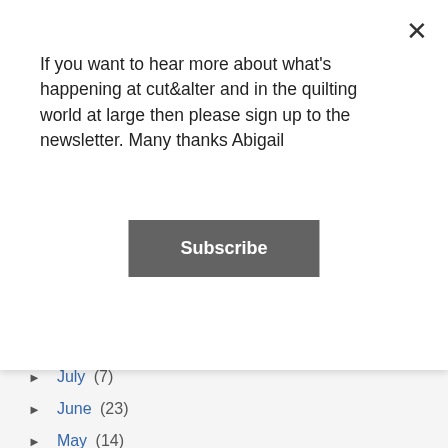If you want to hear more about what's happening at cut&alter and in the quilting world at large then please sign up to the newsletter. Many thanks Abigail
Subscribe
► July (7)
► June (23)
► May (14)
▼ April (11)
Big Jack Little Jack
And onto New Zealand ...
Work in Progress .....
Should I Stay or Should I Go?
2016 Finish Along - Quarter 2